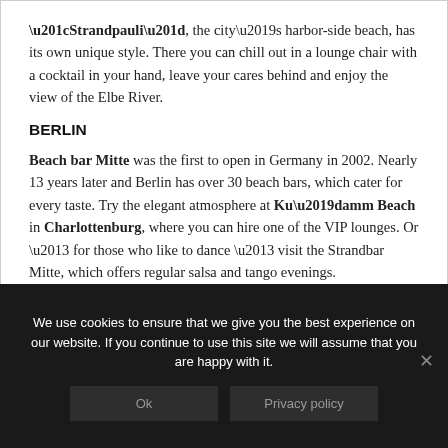“Strandpauli”, the city’s harbor-side beach, has its own unique style. There you can chill out in a lounge chair with a cocktail in your hand, leave your cares behind and enjoy the view of the Elbe River.
BERLIN
Beach bar Mitte was the first to open in Germany in 2002. Nearly 13 years later and Berlin has over 30 beach bars, which cater for every taste. Try the elegant atmosphere at Ku’damm Beach in Charlottenburg, where you can hire one of the VIP lounges. Or – for those who like to dance – visit the Strandbar Mitte, which offers regular salsa and tango evenings.
We use cookies to ensure that we give you the best experience on our website. If you continue to use this site we will assume that you are happy with it.